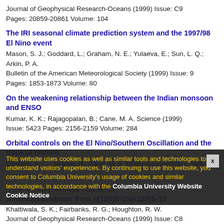Journal of Geophysical Research-Oceans  (1999)    Issue: C9
Pages: 20859-20861    Volume: 104
The IRI seasonal climate prediction system and the 1997/98 El Nino event
Mason, S. J.; Goddard, L.; Graham, N. E.; Yulaeva, E.; Sun, L. Q.; Arkin, P. A.
Bulletin of the American Meteorological Society  (1999)    Issue: 9
Pages: 1853-1873    Volume: 80
On the weakening relationship between the Indian monsoon and ENSO
Kumar, K. K.; Rajagopalan, B.; Cane, M. A.  Science  (1999)
Issue: 5423  Pages: 2156-2159    Volume: 284
Orbital controls on the El Nino/Southern Oscillation and the tropical climate
Clement, A. C.; Seager, R.; Cane, M. A.  Paleoceanography  (1999)
Issue: 4  Pages: 441-456  Volume: 14
American Evidence from n(125)S-10(n125)S-10
Khattiwala, S. K.; Fairbanks, R. G.; Houghton, R. W.
Journal of Geophysical Research-Oceans  (1999)  Issue: C8